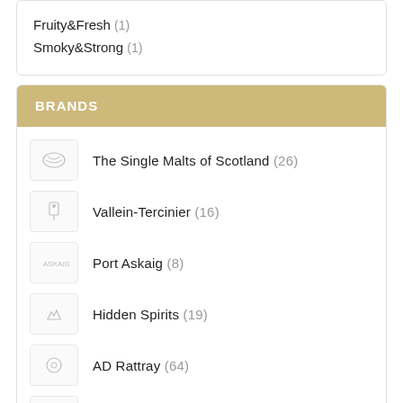Fruity&Fresh (1)
Smoky&Strong (1)
BRANDS
The Single Malts of Scotland (26)
Vallein-Tercinier (16)
Port Askaig (8)
Hidden Spirits (19)
AD Rattray (64)
The High Coast Distillery (8)
Blackadder (30)
Teerenpeli (3)